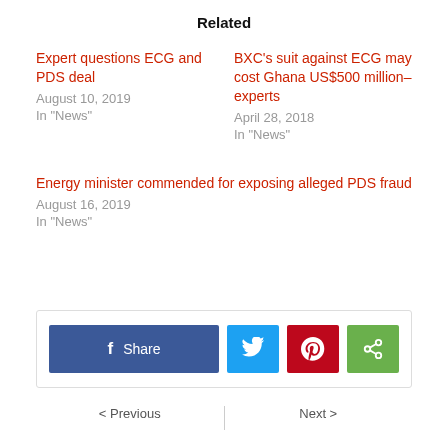Related
Expert questions ECG and PDS deal
August 10, 2019
In "News"
BXC’s suit against ECG may cost Ghana US$500 million– experts
April 28, 2018
In "News"
Energy minister commended for exposing alleged PDS fraud
August 16, 2019
In "News"
[Figure (other): Social share buttons: Facebook Share, Twitter, Pinterest, Share]
< Previous    Next >